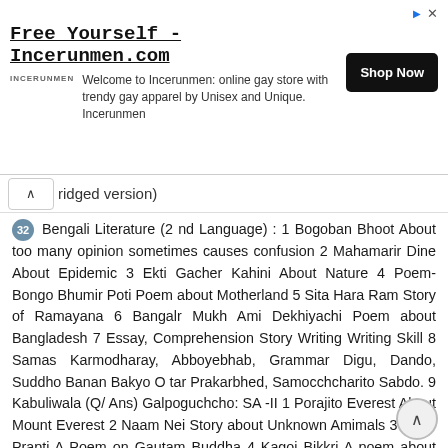[Figure (other): Advertisement banner for Incerunmen.com: 'Free Yourself - Incerunmen.com', logo text 'INCERUNMEN', description 'Welcome to Incerunmen: online gay store with trendy gay apparel by Unisex and Unique. Incerunmen', button 'Shop Now']
ridged version)
32 Bengali Literature (2 nd Language) : 1 Bogoban Bhoot About too many opinion sometimes causes confusion 2 Mahamarir Dine About Epidemic 3 Ekti Gacher Kahini About Nature 4 Poem- Bongo Bhumir Poti Poem about Motherland 5 Sita Hara Ram Story of Ramayana 6 Bangalr Mukh Ami Dekhiyachi Poem about Bangladesh 7 Essay, Comprehension Story Writing Writing Skill 8 Samas Karmodharay, Abboyebhab, Grammar Digu, Dando, Suddho Banan Bakyo O tar Prakarbhed, Samocchcharito Sabdo. 9 Kabuliwala (Q/ Ans) Galpoguchcho: SA -II 1 Porajito Everest About Mount Everest 2 Naam Nei Story about Unknown Amimals 3 Mullo Prapti A Poem on Gautam Buddha 4 Kagoj Bikkri A poem about newspaper 5 Chiro Diner A poem on Village 6. Ram Mohan About Raja Ram Mohan Roy 7 Writing Skill Punctuation, Essay, Story writing, Letter,